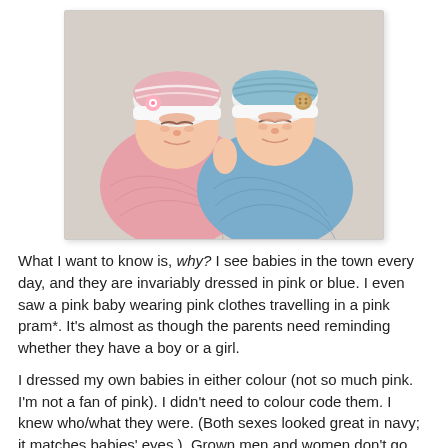[Figure (photo): Two newborn babies swaddled and sleeping side by side. The baby on the left is wrapped in pink with a pink and white crocheted hat with a flower. The baby on the right is wrapped in blue with a blue and white crocheted hat with a wooden button.]
What I want to know is, why? I see babies in the town every day, and they are invariably dressed in pink or blue. I even saw a pink baby wearing pink clothes travelling in a pink pram*. It's almost as though the parents need reminding whether they have a boy or a girl.
I dressed my own babies in either colour (not so much pink. I'm not a fan of pink). I didn't need to colour code them. I knew who/what they were. (Both sexes looked great in navy; it matches babies' eyes.)  Grown men and women don't go around in pink or blue; why do it for babies?